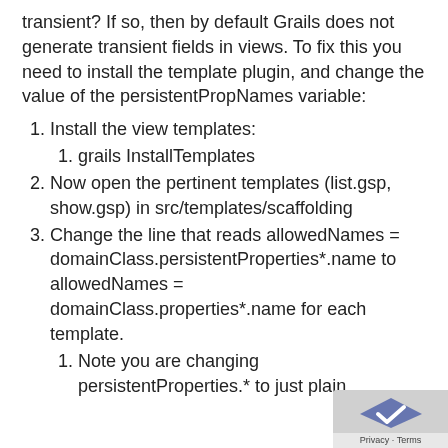transient? If so, then by default Grails does not generate transient fields in views. To fix this you need to install the template plugin, and change the value of the persistentPropNames variable:
1. Install the view templates:
1. grails InstallTemplates
2. Now open the pertinent templates (list.gsp, show.gsp) in src/templates/scaffolding
3. Change the line that reads allowedNames = domainClass.persistentProperties*.name to allowedNames = domainClass.properties*.name for each template.
1. Note you are changing persistentProperties.* to just plain